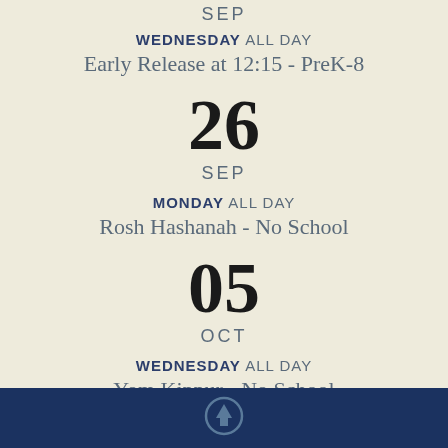SEP
WEDNESDAY ALL DAY
Early Release at 12:15 - PreK-8
26
SEP
MONDAY ALL DAY
Rosh Hashanah - No School
05
OCT
WEDNESDAY ALL DAY
Yom Kippur - No School